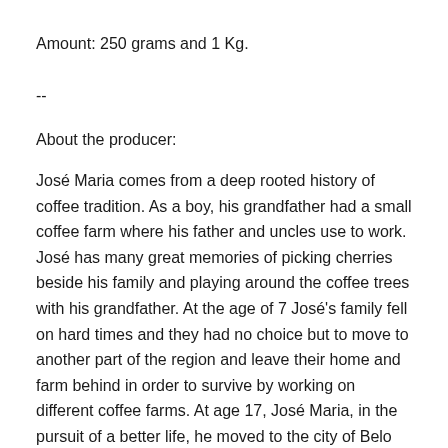Amount: 250 grams and 1 Kg.
--
About the producer:
José Maria comes from a deep rooted history of coffee tradition. As a boy, his grandfather had a small coffee farm where his father and uncles use to work. José has many great memories of picking cherries beside his family and playing around the coffee trees with his grandfather. At the age of 7 José's family fell on hard times and they had no choice but to move to another part of the region and leave their home and farm behind in order to survive by working on different coffee farms. At age 17, José Maria, in the pursuit of a better life, he moved to the city of Belo Horizonte. His first job outside of coffee was as a ticket collector for the city bus line. His big break didn't come until later, when he began working inside of